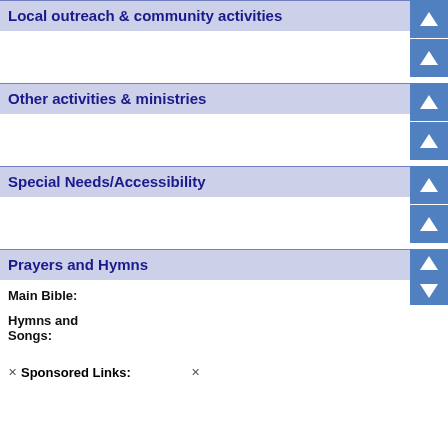Local outreach & community activities
Other activities & ministries
Special Needs/Accessibility
Prayers and Hymns
Main Bible:
Hymns and Songs:
Sponsored Links: